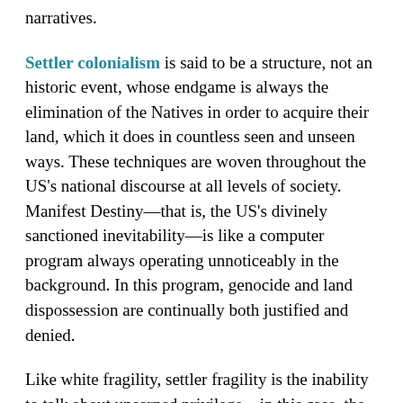narratives.
Settler colonialism is said to be a structure, not an historic event, whose endgame is always the elimination of the Natives in order to acquire their land, which it does in countless seen and unseen ways. These techniques are woven throughout the US's national discourse at all levels of society. Manifest Destiny—that is, the US's divinely sanctioned inevitability—is like a computer program always operating unnoticeably in the background. In this program, genocide and land dispossession are continually both justified and denied.
Like white fragility, settler fragility is the inability to talk about unearned privilege—in this case, the privilege of living on lands that